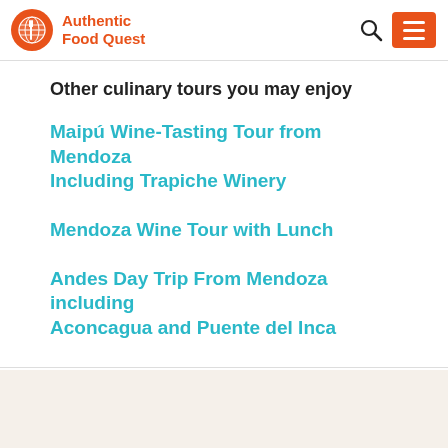Authentic Food Quest
Other culinary tours you may enjoy
Maipú Wine-Tasting Tour from Mendoza Including Trapiche Winery
Mendoza Wine Tour with Lunch
Andes Day Trip From Mendoza including Aconcagua and Puente del Inca